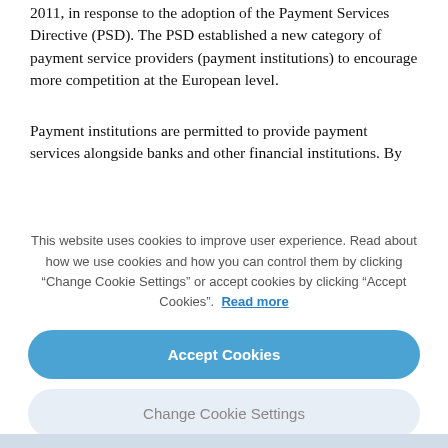2011, in response to the adoption of the Payment Services Directive (PSD). The PSD established a new category of payment service providers (payment institutions) to encourage more competition at the European level.
Payment institutions are permitted to provide payment services alongside banks and other financial institutions. By
This website uses cookies to improve user experience. Read about how we use cookies and how you can control them by clicking “Change Cookie Settings” or accept cookies by clicking “Accept Cookies”.  Read more
Accept Cookies
Change Cookie Settings